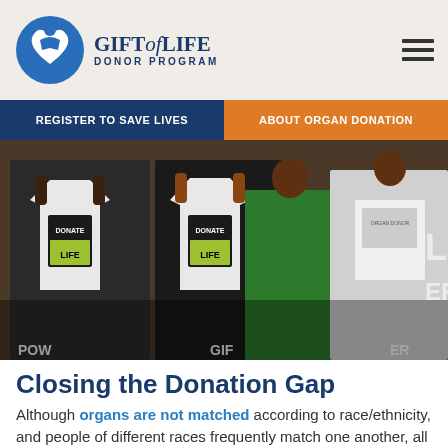Gift of Life Donor Program
[Figure (photo): People holding up white Donate Life t-shirts at an organ donation awareness event]
Closing the Donation Gap
Although organs are not matched according to race/ethnicity, and people of different races frequently match one another, all individuals waiting for an organ transplant will have a better chance of receiving one if there are large numbers of donors from their